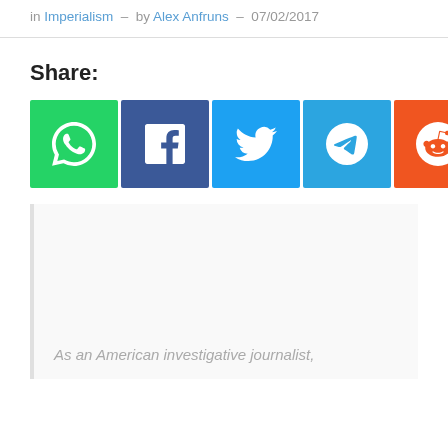in Imperialism – by Alex Anfruns – 07/02/2017
Share:
[Figure (infographic): Row of six social share buttons: WhatsApp (green), Facebook (dark blue), Twitter (light blue), Telegram (blue), Reddit (orange), Email (dark grey), each with white icon]
As an American investigative journalist,